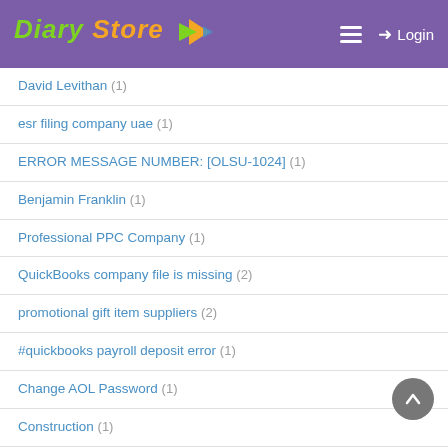Diary Store — Login
David Levithan (1)
esr filing company uae (1)
ERROR MESSAGE NUMBER: [OLSU-1024] (1)
Benjamin Franklin (1)
Professional PPC Company (1)
QuickBooks company file is missing (2)
promotional gift item suppliers (2)
#quickbooks payroll deposit error (1)
Change AOL Password (1)
Construction (1)
William Makepeace Tahckeray (1)
Blank QuickBooks Screen in Chrome (1)